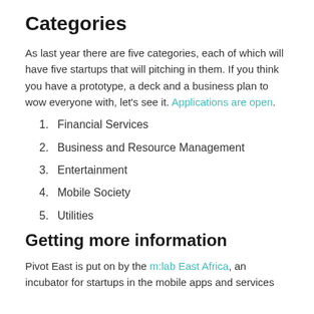Categories
As last year there are five categories, each of which will have five startups that will pitching in them. If you think you have a prototype, a deck and a business plan to wow everyone with, let's see it. Applications are open.
1. Financial Services
2. Business and Resource Management
3. Entertainment
4. Mobile Society
5. Utilities
Getting more information
Pivot East is put on by the m:lab East Africa, an incubator for startups in the mobile apps and services